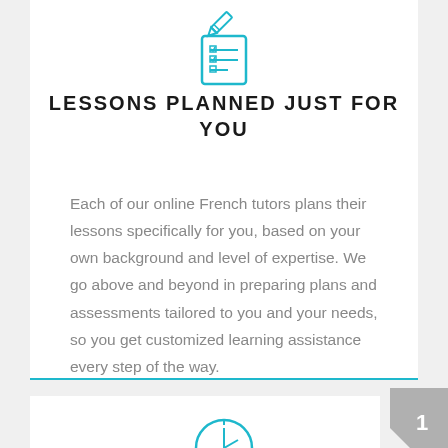[Figure (illustration): Teal/cyan outline icon of a checklist or lesson plan document with a pencil]
LESSONS PLANNED JUST FOR YOU
Each of our online French tutors plans their lessons specifically for you, based on your own background and level of expertise. We go above and beyond in preparing plans and assessments tailored to you and your needs, so you get customized learning assistance every step of the way.
[Figure (illustration): Teal/cyan outline icon of a clock or timer, partially visible at the bottom]